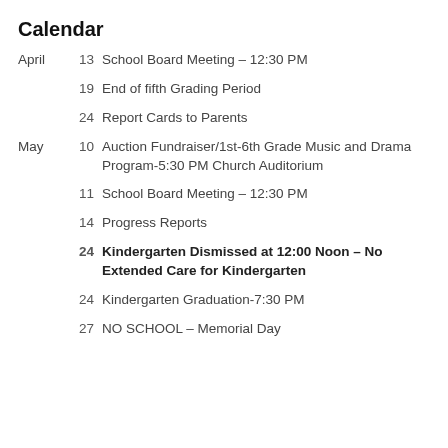Calendar
April 13 School Board Meeting – 12:30 PM
19 End of fifth Grading Period
24 Report Cards to Parents
May 10 Auction Fundraiser/1st-6th Grade Music and Drama Program-5:30 PM Church Auditorium
11 School Board Meeting – 12:30 PM
14 Progress Reports
24 Kindergarten Dismissed at 12:00 Noon – No Extended Care for Kindergarten
24 Kindergarten Graduation-7:30 PM
27 NO SCHOOL – Memorial Day